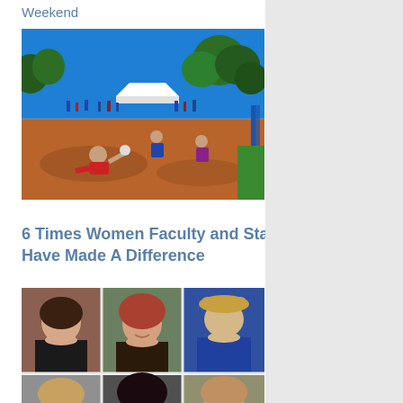Weekend
[Figure (photo): Outdoor sports event on red clay/dirt court with people playing volleyball or similar sport, blue sky and trees in background]
6 Times Women Faculty and Staff Have Made A Difference
[Figure (photo): Grid of six headshot photos of women faculty and staff members, 3 columns x 2 rows]